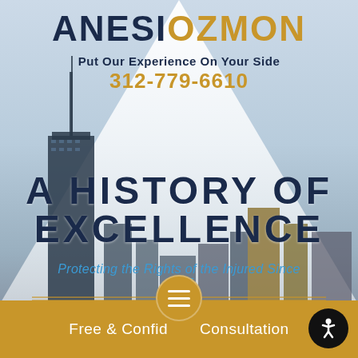ANESI OZMON
Put Our Experience On Your Side
312-779-6610
[Figure (photo): Chicago skyline city background with tall skyscrapers including the John Hancock Center, with a large white triangular/pyramid overlay in the upper portion]
A HISTORY OF EXCELLENCE
Protecting the Rights of the Injured Since 1955
Free & Confidential Consultation